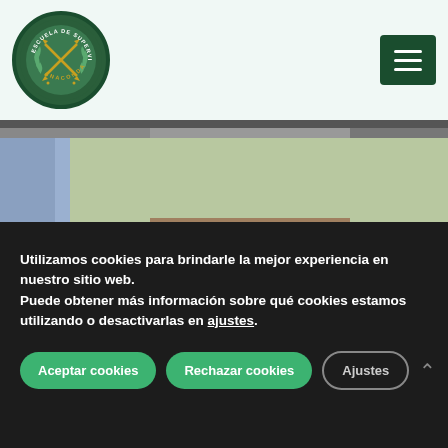[Figure (logo): Circular logo for Escuela de Supervivencia Anaconda 1, dark green border with crossed arrows and laurel wreath]
[Figure (photo): Partially visible outdoor photo strip at top]
[Figure (photo): Outdoor photo showing a dark-furred animal (possibly a goat or bear) on grassy terrain with a person partially visible]
Utilizamos cookies para brindarle la mejor experiencia en nuestro sitio web.
Puede obtener más información sobre qué cookies estamos utilizando o desactivarlas en ajustes.
Aceptar cookies
Rechazar cookies
Ajustes